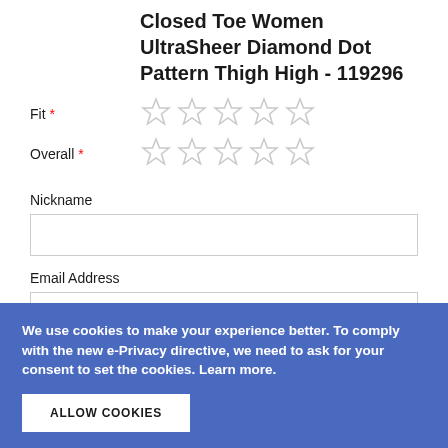Closed Toe Women UltraSheer Diamond Dot Pattern Thigh High - 119296
Fit *
[Figure (other): Five empty star rating icons for Fit rating]
Overall *
[Figure (other): Five empty star rating icons for Overall rating]
Nickname
Email Address
We use cookies to make your experience better. To comply with the new e-Privacy directive, we need to ask for your consent to set the cookies. Learn more.
ALLOW COOKIES